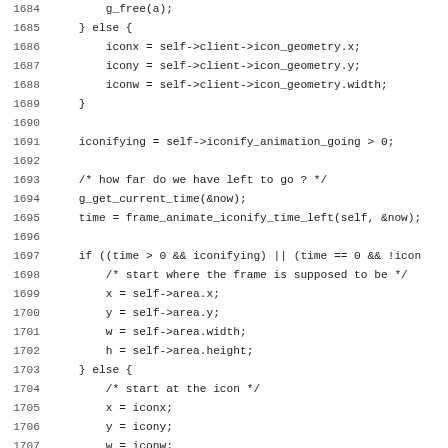Source code listing lines 1684-1715
[Figure (screenshot): C source code listing with line numbers 1684-1715 showing an iconify animation function with conditionals for time, iconifying, area, and icon geometry variables.]